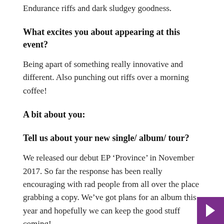Endurance riffs and dark sludgey goodness.
What excites you about appearing at this event?
Being apart of something really innovative and different. Also punching out riffs over a morning coffee!
A bit about you:
Tell us about your new single/ album/ tour?
We released our debut EP ‘Province’ in November 2017. So far the response has been really encouraging with rad people from all over the place grabbing a copy. We’ve got plans for an album this year and hopefully we can keep the good stuff coming!
What’s your favourite work at this point in time?
Well we’ve only just put out our first EP so there’s not a h of material. But I’m really keen on the riffs we’ve come up with, a few problems followed on that I’d be allin with